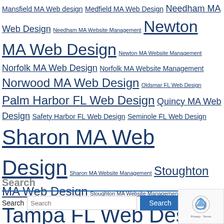Mansfield MA Web design Medfield MA Web Design Needham MA Web Design Needham MA Website Management Newton MA Web Design Newton MA Website Management Norfolk MA Web Design Norfolk MA Website Management Norwood MA Web Design Oldsmar FL Web Design Palm Harbor FL Web Design Quincy MA Web Design Safety Harbor FL Web Design Seminole FL Web Design Sharon MA Web Design Sharon MA Website Management Stoughton MA Web Design Stoughton MA Website Management Tampa FL Web Design Tarpon Springs FL Web Design Walpole MA Web Design Web Design Boston wellesley ma web design Weston MA Web Design Westwood MA Web Design Wrentham MA Web Design
Search
Search [input] Search [button]